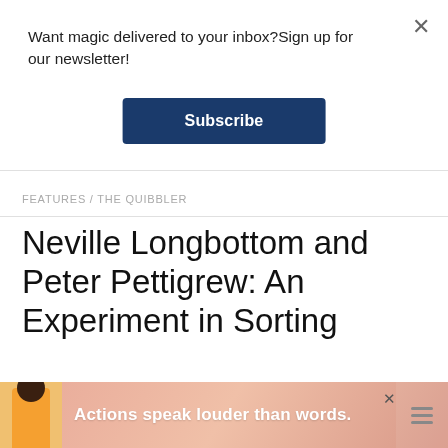Want magic delivered to your inbox?Sign up for our newsletter!
Subscribe
FEATURES / THE QUIBBLER
Neville Longbottom and Peter Pettigrew: An Experiment in Sorting
BY MUGGLENET · PUBLISHED JULY 18, 2015 · UPDATED JULY 12, 2016
[Figure (other): Advertisement banner at bottom: Actions speak louder than words.]